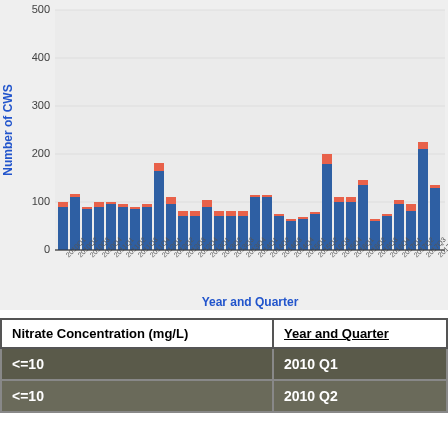[Figure (stacked-bar-chart): ]
| Nitrate Concentration (mg/L) | Year and Quarter |
| --- | --- |
| <=10 | 2010 Q1 |
| <=10 | 2010 Q2 |